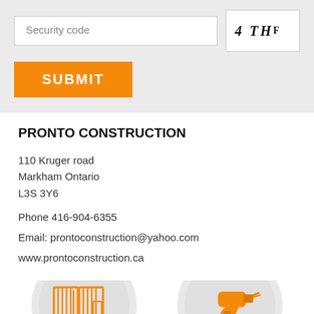[Figure (screenshot): Security code input field with placeholder text 'Security code' and a CAPTCHA image showing '4 THF' in mixed serif fonts]
[Figure (screenshot): Orange SUBMIT button]
PRONTO CONSTRUCTION
110 Kruger road
Markham Ontario
L3S 3Y6
Phone 416-904-6355
Email: prontoconstruction@yahoo.com
www.prontoconstruction.ca
[Figure (illustration): Two circular icons with orange illustrations on light gray background. Left icon shows a construction/framing book or panel icon. Right icon shows a power drill icon.]